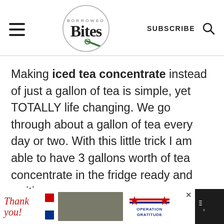Borrowed Bites — SUBSCRIBE
Making iced tea concentrate instead of just a gallon of tea is simple, yet TOTALLY life changing. We go through about a gallon of tea every day or two. With this little trick I am able to have 3 gallons worth of tea concentrate in the fridge ready and waiting.
[Figure (other): Advertisement banner: 'Thank you!' with US flag motif, soldiers image, Operation Gratitude logo, and weather widget icon]